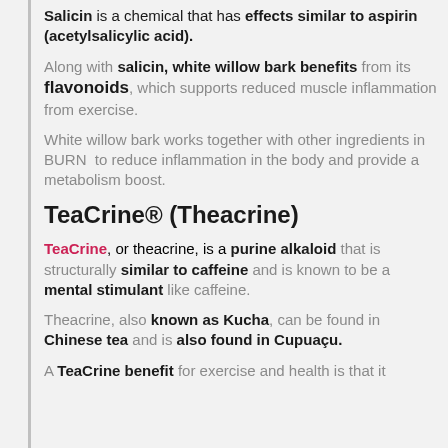Salicin is a chemical that has effects similar to aspirin (acetylsalicylic acid).
Along with salicin, white willow bark benefits from its flavonoids, which supports reduced muscle inflammation from exercise.
White willow bark works together with other ingredients in BURN  to reduce inflammation in the body and provide a metabolism boost.
TeaCrine® (Theacrine)
TeaCrine, or theacrine, is a purine alkaloid that is structurally similar to caffeine and is known to be a mental stimulant like caffeine.
Theacrine, also known as Kucha, can be found in Chinese tea and is also found in Cupuaçu.
A TeaCrine benefit for exercise and health is that it